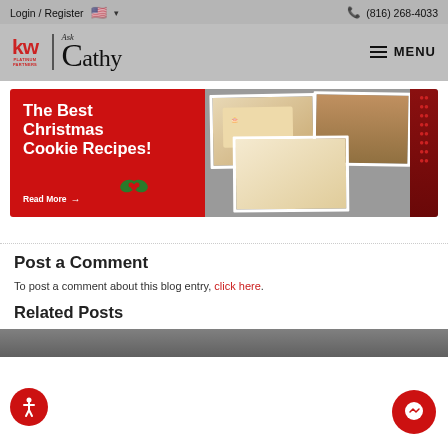Login / Register  (816) 268-4033
[Figure (logo): KW Platinum Partners - Ask Cathy logo with menu button]
[Figure (photo): Banner image: The Best Christmas Cookie Recipes! Read More → with photos of cookies and cranberries]
Post a Comment
To post a comment about this blog entry, click here.
Related Posts
[Figure (photo): Bottom image strip showing a partial photo]
[Figure (other): Accessibility icon button (bottom left)]
[Figure (other): Facebook Messenger chat button (bottom right)]